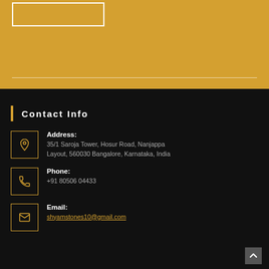[Figure (other): Golden/amber colored top section with a white outlined box at top-left and a horizontal white divider line.]
Contact Info
Address:
35/1 Saroja Tower, Hosur Road, Nanjappa Layout, 560030 Bangalore, Karnataka, India
Phone:
+91 80506 04433
Email:
shyamstones10@gmail.com